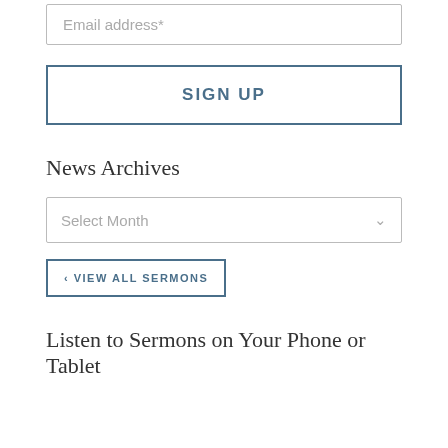Email address*
SIGN UP
News Archives
Select Month
< VIEW ALL SERMONS
Listen to Sermons on Your Phone or Tablet
Subscribe to Podcast